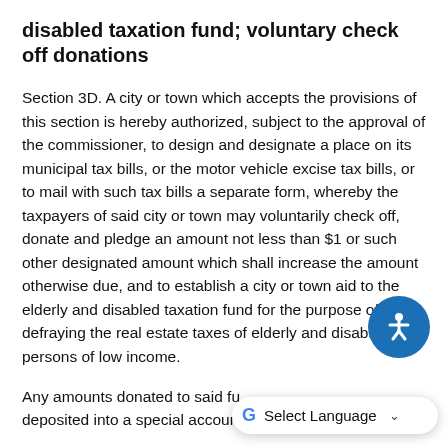disabled taxation fund; voluntary check off donations
Section 3D. A city or town which accepts the provisions of this section is hereby authorized, subject to the approval of the commissioner, to design and designate a place on its municipal tax bills, or the motor vehicle excise tax bills, or to mail with such tax bills a separate form, whereby the taxpayers of said city or town may voluntarily check off, donate and pledge an amount not less than $1 or such other designated amount which shall increase the amount otherwise due, and to establish a city or town aid to the elderly and disabled taxation fund for the purpose of defraying the real estate taxes of elderly and disabled persons of low income.
Any amounts donated to said fund shall be deposited into a special account in the general